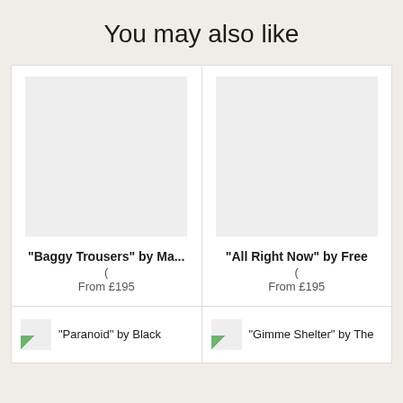You may also like
"Baggy Trousers" by Ma...
(
From £195
"All Right Now" by Free
(
From £195
"Paranoid" by Black
"Gimme Shelter" by The